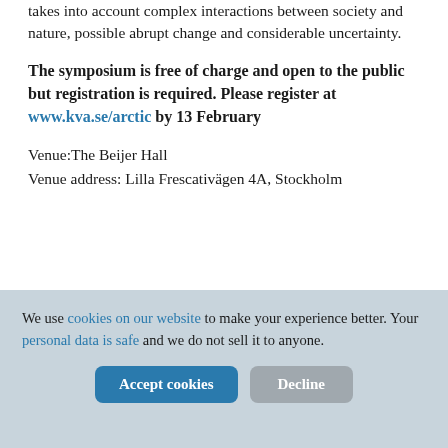takes into account complex interactions between society and nature, possible abrupt change and considerable uncertainty.
The symposium is free of charge and open to the public but registration is required. Please register at www.kva.se/arctic by 13 February
Venue:The Beijer Hall
Venue address: Lilla Frescativägen 4A, Stockholm
We use cookies on our website to make your experience better. Your personal data is safe and we do not sell it to anyone.